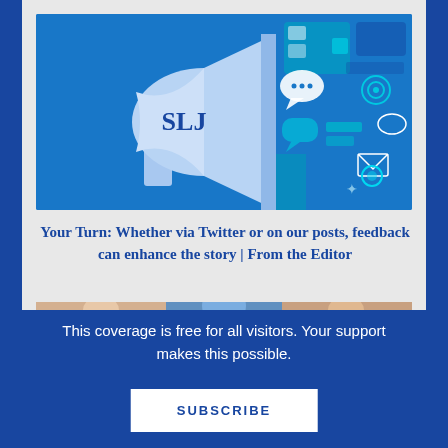[Figure (illustration): SLJ megaphone illustration on blue background with social media icons floating out of it (chat bubbles, circles, squares, envelope, target, etc.)]
Your Turn: Whether via Twitter or on our posts, feedback can enhance the story | From the Editor
[Figure (photo): Photo strip showing people smiling, partial view]
This coverage is free for all visitors. Your support makes this possible.
SUBSCRIBE